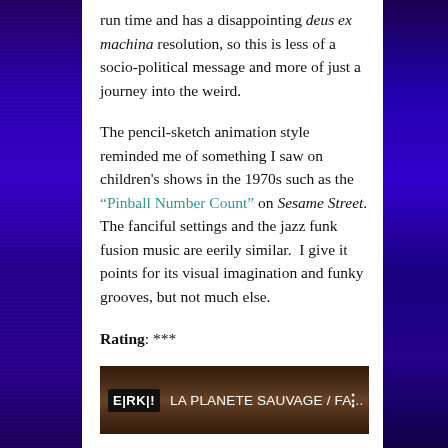run time and has a disappointing deus ex machina resolution, so this is less of a socio-political message and more of just a journey into the weird.
The pencil-sketch animation style reminded me of something I saw on children's shows in the 1970s such as the “Pinball Number Count” on Sesame Street. The fanciful settings and the jazz funk fusion music are eerily similar.  I give it points for its visual imagination and funky grooves, but not much else.
Rating: ***
[Figure (screenshot): Video thumbnail showing LA PLANETE SAUVAGE / FA... with ERKA! logo on dark background]